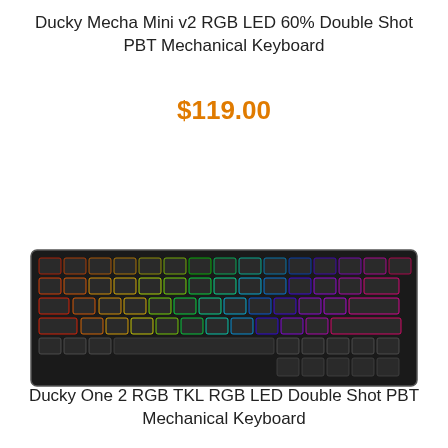Ducky Mecha Mini v2 RGB LED 60% Double Shot PBT Mechanical Keyboard
$119.00
[Figure (photo): Photo of a Ducky mechanical keyboard with RGB backlighting showing rainbow color lighting across keys, compact 60% layout with black keycaps on a dark body]
Ducky One 2 RGB TKL RGB LED Double Shot PBT Mechanical Keyboard